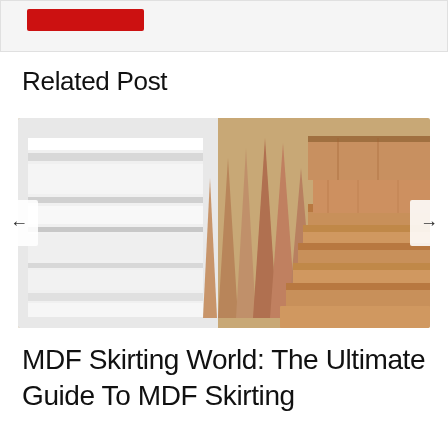[Figure (other): Red button/banner element at the top of the page within a light grey bordered container]
Related Post
[Figure (photo): Photo showing various skirting board profiles — white painted MDF skirting boards on the left and natural wood skirting/moulding pieces stacked on the right, with navigation arrows on either side of the image carousel]
MDF Skirting World: The Ultimate Guide To MDF Skirting